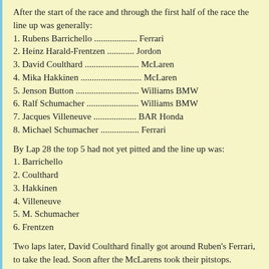After the start of the race and through the first half of the race the line up was generally:
1. Rubens Barrichello .................. Ferrari
2. Heinz Harald-Frentzen ............ Jordon
3. David Coulthard ........................ McLaren
4. Mika Hakkinen ........................... McLaren
5. Jenson Button ............................ Williams BMW
6. Ralf Schumacher ........................ Williams BMW
7. Jacques Villeneuve ................... BAR Honda
8. Michael Schumacher ................. Ferrari
By Lap 28 the top 5 had not yet pitted and the line up was:
1. Barrichello
2. Coulthard
3. Hakkinen
4. Villeneuve
5. M. Schumacher
6. Frentzen
Two laps later, David Coulthard finally got around Ruben's Ferrari, to take the lead. Soon after the McLarens took their pitstops.
A few laps later, Barrichello spun half way around in the middle of the track while leading! He stayed on the gas and did a donut